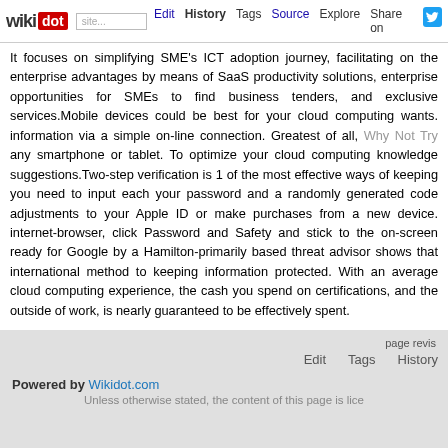wikidot | Edit | History | Tags | Source | Explore | Share on [Twitter]
It focuses on simplifying SME's ICT adoption journey, facilitating on the enterprise advantages by means of SaaS productivity solutions, enterprise opportunities for SMEs to find business tenders, and exclusive services.Mobile devices could be best for your cloud computing wants. information via a simple on-line connection. Greatest of all, Why Not Try any smartphone or tablet. To optimize your cloud computing knowledge suggestions.Two-step verification is 1 of the most effective ways of keeping you need to input each your password and a randomly generated code adjustments to your Apple ID or make purchases from a new device. internet-browser, click Password and Safety and stick to the on-screen ready for Google by a Hamilton-primarily based threat advisor shows that international method to keeping information protected. With an average cloud computing experience, the cash you spend on certifications, and the outside of work, is nearly guaranteed to be effectively spent.
Comments: 0
Add a New Comment
page revisions | Edit | Tags | History | Powered by Wikidot.com | Unless otherwise stated, the content of this page is lice